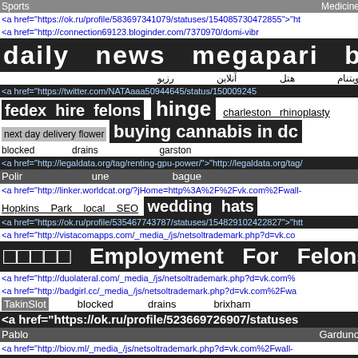Sports   Medicine
<a href="https://ok.ru/profile/583697341079/statuses/154085730472855">"ht
<a href="http://connection69123.bloginder.com/7370970/domi-vibr
daily   news   megapari   betting
رزیو   آنلاین   هتل   ویتنام
<a href="https://twitter.com/NATAaaa50944645/status/150009245
fedex   hire   felons   hinge   charleston   rhinoplasty
next day delivery flower   buying cannabis in dc
blocked   drains   garston
<a href="http://legaldata.org/tag/renting-gpu-power/">"http://legaldata.org/tag/
Polir   une   bague
<a href="http://linker.worldcat.org/?jHome=http%3A%2F%2Fvk.com%2Fwall-
Hopkins   Park   local   SEO   wedding   hats
<a href="https://ok.ru/profile/535467743787/statuses/154829102422827">"htt
<a href="http://vistacomapps.com/_media_/js/netsoltrademark.php?d=vk.co
□□□□□   Employment   For   Felons
<a href="http://duolateral.com/_media_/js/netsoltrademark.php?d=vk.com%
<a href="http://badgirl.cc/_media_/js/netsoltrademark.php?d=vk.com%2Fwa
TakinSlot   blocked   drains   brixham
<a href="https://ok.ru/profile/523669726907/statuses
Pablo   Garduno
<a href="http://biov.ml/_media_/js/netsoltrademark.php?d=vk.com%2Fwall-
<a href="https://ok.ru/profile/582553205658/statuses/154281887159194">"htt
kant   en   klaar   gordijnen   Duplicate   NV   title
transmission repair in scottsdale   negative content removal